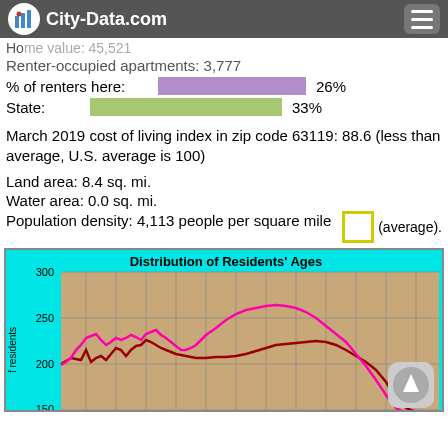City-Data.com
Renter-occupied apartments: 3,777
% of renters here: 26%
State: 33%
March 2019 cost of living index in zip code 63119: 88.6 (less than average, U.S. average is 100)
Land area: 8.4 sq. mi.
Water area: 0.0 sq. mi.
Population density: 4,113 people per square mile (average).
[Figure (continuous-plot): Distribution of Residents' Ages chart with two lines (magenta and dark red) showing number of residents by age. Y-axis shows values 150, 200, 250, 300. Background is tan/brown with cyan border. Lines start around 200 and the magenta line peaks near 270 around middle ages.]